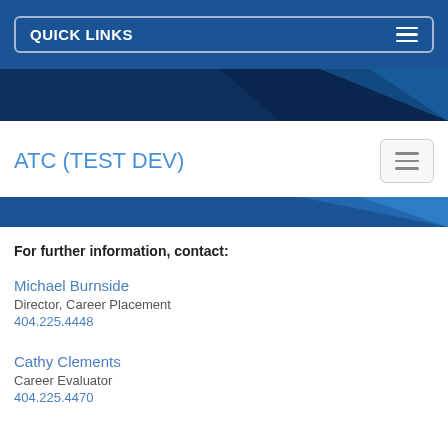QUICK LINKS
[Figure (other): Dark blue geometric banner with triangular shapes]
ATC (TEST DEV)
[Figure (other): Blue accent bar with diagonal geometric element]
For further information, contact:
Michael Burnside
Director, Career Placement
404.225.4448
Cathy Clements
Career Evaluator
404.225.4470